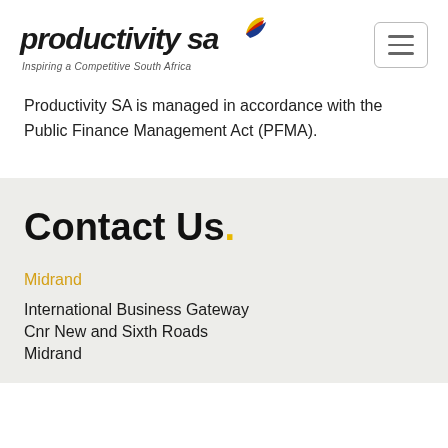[Figure (logo): Productivity SA logo with bird graphic in red, yellow, and blue. Italic bold text reads 'productivity sa' with tagline 'Inspiring a Competitive South Africa']
Productivity SA is managed in accordance with the Public Finance Management Act (PFMA).
Contact Us.
Midrand
International Business Gateway
Cnr New and Sixth Roads
Midrand